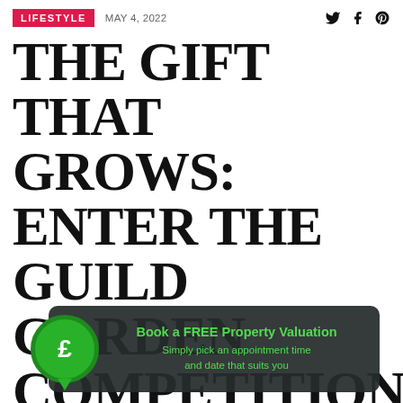LIFESTYLE  MAY 4, 2022
THE GIFT THAT GROWS: ENTER THE GUILD GARDEN COMPETITION
Picture the scene: the sun is shining, the bees are buzzing and your garden is thriving... reality for one lucky... for every level of horticulturist, whether you are just starting out;
[Figure (infographic): Green coin/speech bubble icon with £ symbol overlaid on a dark rounded banner reading 'Book a FREE Property Valuation - Simply pick an appointment time and date that suits you']